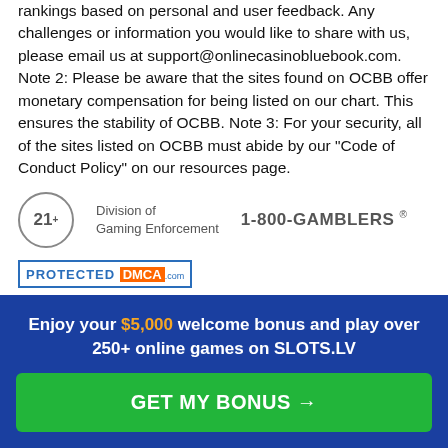rankings based on personal and user feedback. Any challenges or information you would like to share with us, please email us at support@onlinecasinobluebook.com. Note 2: Please be aware that the sites found on OCBB offer monetary compensation for being listed on our chart. This ensures the stability of OCBB. Note 3: For your security, all of the sites listed on OCBB must abide by our "Code of Conduct Policy" on our resources page.
[Figure (logo): 21+ badge circle, Division of Gaming Enforcement text, 1-800-GAMBLERS registered trademark]
[Figure (logo): PROTECTED DMCA.com badge]
Copyright © 2022 Online Casino Bluebook - Best Online Casinos. All Rights Reserved. OCBB Updated September 2022
Enjoy your $5,000 welcome bonus and play over 250+ online games on SLOTS.LV
GET MY BONUS →